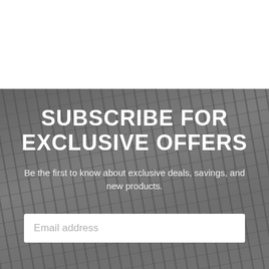[Figure (photo): Gym equipment background photo (dumbbells, barbells, fitness equipment) with grey overlay, partially visible behind white space at top]
SUBSCRIBE FOR EXCLUSIVE OFFERS
Be the first to know about exclusive deals, savings, and new products.
Email address